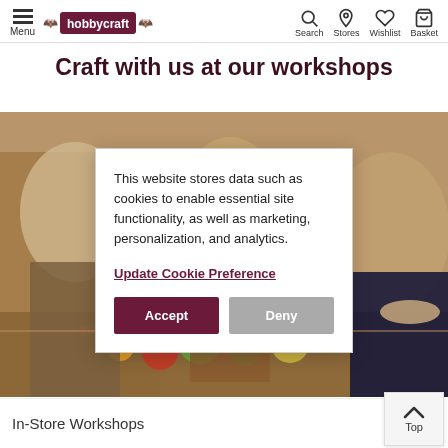Menu | hobbycraft | Search | Stores | Wishlist | Basket
Craft with us at our workshops
[Figure (photo): People crafting at a workshop table with yarn balls and craft supplies]
This website stores data such as cookies to enable essential site functionality, as well as marketing, personalization, and analytics.
Update Cookie Preference
Accept | Deny
In-Store Workshops